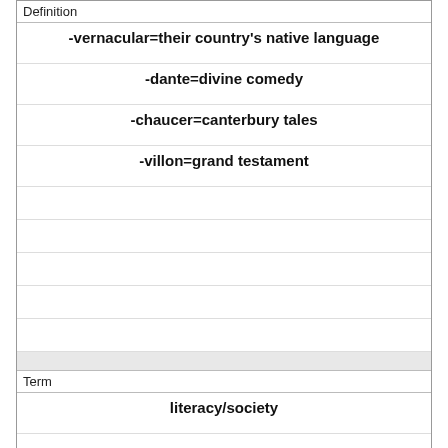| Definition |
| --- |
| -vernacular=their country's native language |
| -dante=divine comedy |
| -chaucer=canterbury tales |
| -villon=grand testament |
|  |
|  |
|  |
|  |
|  |
| Term |
| --- |
| literacy/society |
|  |
|  |
|  |
|  |
|  |
|  |